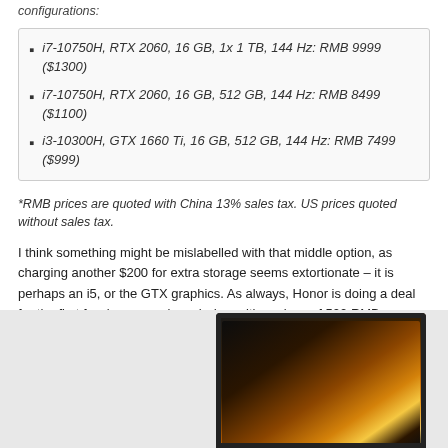configurations:
i7-10750H, RTX 2060, 16 GB, 1x 1 TB, 144 Hz: RMB 9999 ($1300)
i7-10750H, RTX 2060, 16 GB, 512 GB, 144 Hz: RMB 8499 ($1100)
i3-10300H, GTX 1660 Ti, 16 GB, 512 GB, 144 Hz: RMB 7499 ($999)
*RMB prices are quoted with China 13% sales tax. US prices quoted without sales tax.
I think something might be mislabelled with that middle option, as charging another $200 for extra storage seems extortionate – it is perhaps an i5, or the GTX graphics. As always, Honor is doing a deal for the first few buyers on launch day, with savings of 500 RMB.
[Figure (photo): Laptop screen showing a dark fantasy game scene with fiery orange and golden light effects, viewed from the side/front angle showing the display bezel.]